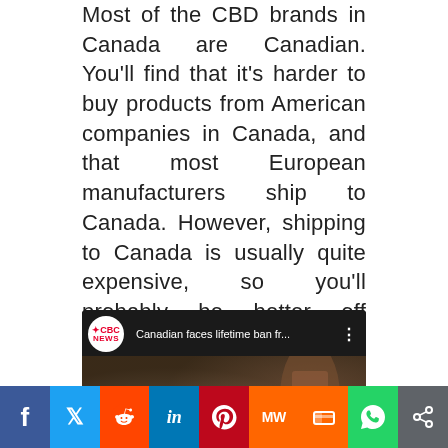Most of the CBD brands in Canada are Canadian. You'll find that it's harder to buy products from American companies in Canada, and that most European manufacturers ship to Canada. However, shipping to Canada is usually quite expensive, so you'll probably be better off ordering a product from the U.S.
[Figure (screenshot): Embedded YouTube video thumbnail from CBC News titled 'Canadian faces lifetime ban fr...' showing a syringe with yellowish liquid and a blurred bottle in the background. Play button overlay visible in center.]